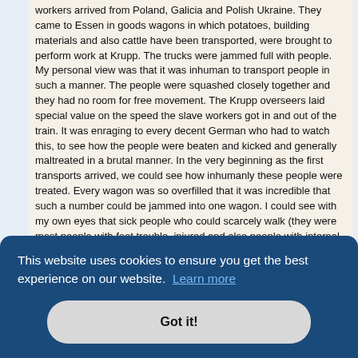workers arrived from Poland, Galicia and Polish Ukraine. They came to Essen in goods wagons in which potatoes, building materials and also cattle have been transported, were brought to perform work at Krupp. The trucks were jammed full with people. My personal view was that it was inhuman to transport people in such a manner. The people were squashed closely together and they had no room for free movement. The Krupp overseers laid special value on the speed the slave workers got in and out of the train. It was enraging to every decent German who had to watch this, to see how the people were beaten and kicked and generally maltreated in a brutal manner. In the very beginning as the first transports arrived, we could see how inhumanly these people were treated. Every wagon was so overfilled that it was incredible that such a number could be jammed into one wagon. I could see with my own eyes that sick people who could scarcely walk (they were most people with foot trouble, injured and also people with internal trouble) were taken to work. One could see that it was sometimes difficult for them to [...]ers and [...] in a few [...]the foot [...]rag:3 [...]have [...]e from the very beginning that their treatment on their arrival in Essen was
This website uses cookies to ensure you get the best experience on our website. Learn more
Got it!